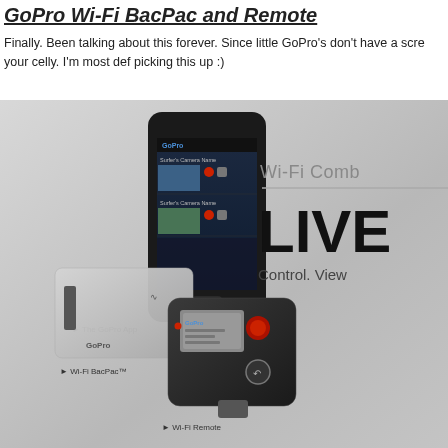GoPro Wi-Fi BacPac and Remote
Finally. Been talking about this forever. Since little GoPro's don't have a scre... your celly. I'm most def picking this up :)
[Figure (photo): GoPro Wi-Fi Combo product image showing The GoPro App on a smartphone, the Wi-Fi BacPac accessory, and the Wi-Fi Remote. Text overlays read 'Wi-Fi Comb...', 'LIVE', and 'Control. View...']